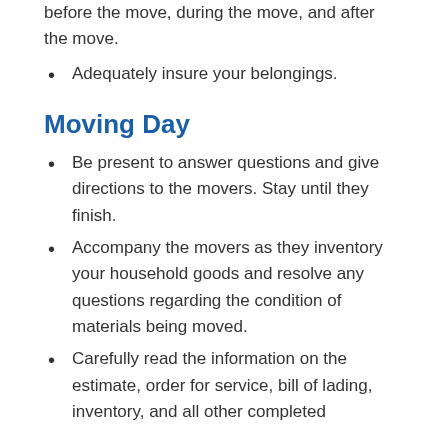before the move, during the move, and after the move.
Adequately insure your belongings.
Moving Day
Be present to answer questions and give directions to the movers. Stay until they finish.
Accompany the movers as they inventory your household goods and resolve any questions regarding the condition of materials being moved.
Carefully read the information on the estimate, order for service, bill of lading, inventory, and all other completed